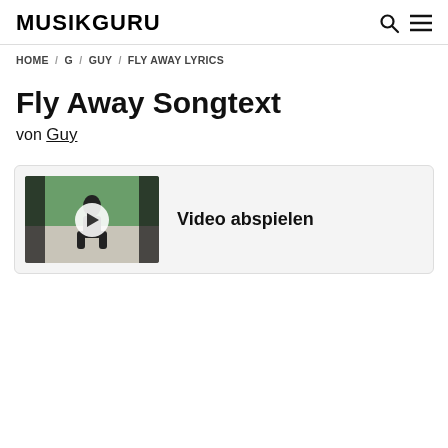MUSIKGURU
HOME / G / GUY / FLY AWAY LYRICS
Fly Away Songtext
von Guy
[Figure (screenshot): Video player thumbnail showing a person dancing outdoors, with a white circular play button overlay, accompanied by the text 'Video abspielen']